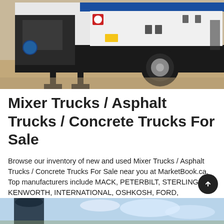[Figure (photo): Photograph of a white and black concrete mixer / asphalt truck on a construction site, showing the rear and side of the truck with blue hose connections and large tires.]
Mixer Trucks / Asphalt Trucks / Concrete Trucks For Sale
Browse our inventory of new and used Mixer Trucks / Asphalt Trucks / Concrete Trucks For Sale near you at MarketBook.ca. Top manufacturers include MACK, PETERBILT, STERLING, KENWORTH, INTERNATIONAL, OSHKOSH, FORD, FREIGHTLINER, VOLVO, and TEREX. Page 1 of 21.
[Figure (photo): Partial photograph at the bottom of the page showing a blue-sky background with a dark silhouette of a vehicle or equipment on the left side.]